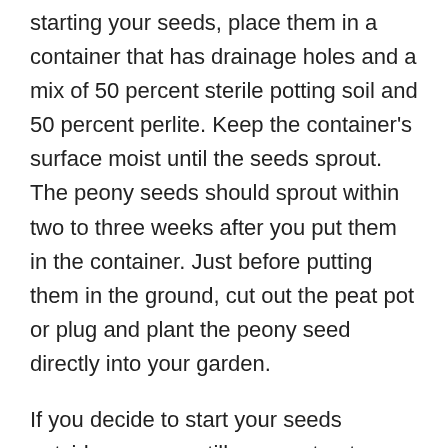starting your seeds, place them in a container that has drainage holes and a mix of 50 percent sterile potting soil and 50 percent perlite. Keep the container's surface moist until the seeds sprout. The peony seeds should sprout within two to three weeks after you put them in the container. Just before putting them in the ground, cut out the peat pot or plug and plant the peony seed directly into your garden.
If you decide to start your seeds outside, you can still use peat pots or starter plugs. To prepare the ground outside for your seeds, you must first turn the soil at least 9 inches deep. Once you've tilled the soil, remove any large rocks or debris from the soil then break it up with a rake or hoe. If you're working in containers, you